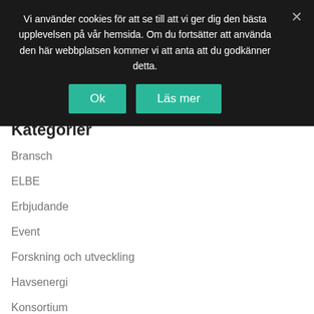Vi använder cookies för att se till att vi ger dig den bästa upplevelsen på vår hemsida. Om du fortsätter att använda den här webbplatsen kommer vi att anta att du godkänner detta.
Ok
Läs mer
Kategorier
Bransch
ELBE
Erbjudande
Event
Forskning och utveckling
Havsenergi
Konsortium
Lär känna konsortiet
Marin bioenergi
Nyheter från OffshoreVäst